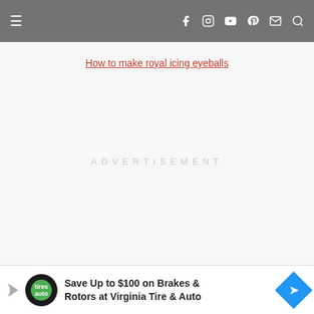≡  [navigation bar with social icons: Facebook, Instagram, YouTube, Pinterest, Email, Search]
How to make royal icing eyeballs
[Figure (other): Advertisement placeholder area with text 'ADVERTISEMENT' in light gray]
[Figure (other): Bottom banner ad: Save Up to $100 on Brakes & Rotors at Virginia Tire & Auto, with Tire Auto logo and blue arrow icon]